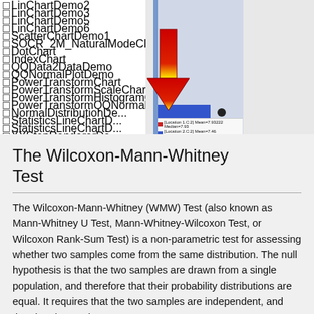[Figure (screenshot): Screenshot of a software IDE or chart demo application file tree, showing a list of chart demo files (LinChartDemo2, LinChartDemo3, LinChartDemo5, LinChartDemo6, ScatterChartDemo1, SOCR_2M_NaturalModeChart, DotChart, IndexChart, QQData2DataDemo, QQNormalPlotDemo, PowerTransformChart, PowerTransformScaleChartDemo, PowerTransformHistogramChartDemo, PowerTransformQQNormalPlotDemo, NormalDistributionDemo, StatisticsLineChartDemo1, StatisticsLineChartDemo2, XYStepRendererDemo) and folder nodes (Area Charts, Miscellaneous, CrossHairs, BoxAndWhiskerChartDemo1 highlighted in blue, BoxAndWhiskerChartDemo2). A large red/yellow downward arrow is overlaid in the center. On the right is a blue scrollbar and a panel showing legend text for Location 1 C:2 Mean=7.93222 Median=7.93 and Location 2 C:2 Mean=7.46 Median=7.41 ...]
The Wilcoxon-Mann-Whitney Test
The Wilcoxon-Mann-Whitney (WMW) Test (also known as Mann-Whitney U Test, Mann-Whitney-Wilcoxon Test, or Wilcoxon Rank-Sum Test) is a non-parametric test for assessing whether two samples come from the same distribution. The null hypothesis is that the two samples are drawn from a single population, and therefore that their probability distributions are equal. It requires that the two samples are independent, and that the observations are